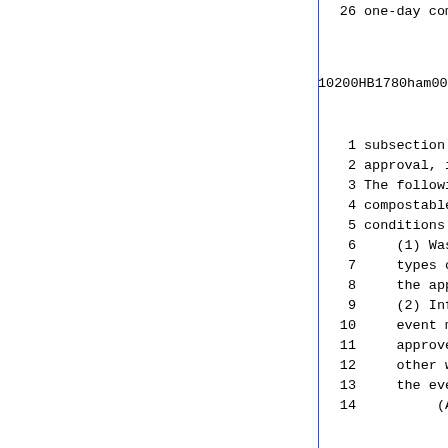26    one-day compostable waste colle
10200HB1780ham001          - 53
1    subsection (d-5) must be operat
2    approval, including all conditi
3    The following requirements shal
4    compostable waste collection ev
5    conditions contained in the app
6         (1) Waste accepted at t
7         types of compostable waste
8         the approval.
9         (2) Information promoti
10        event must clearly indicate
11        approved for collection. To
12        other waste, information pr
13        the event must also include
14             (A) examples of com